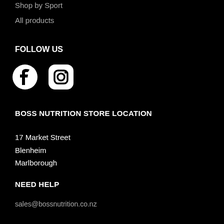Shop by Sport
All products
FOLLOW US
[Figure (illustration): Facebook and Instagram social media icons in white on black background]
BOSS NUTRITION STORE LOCATION
17 Market Street
Blenheim
Marlborough
NEED HELP
sales@bossnutrition.co.nz